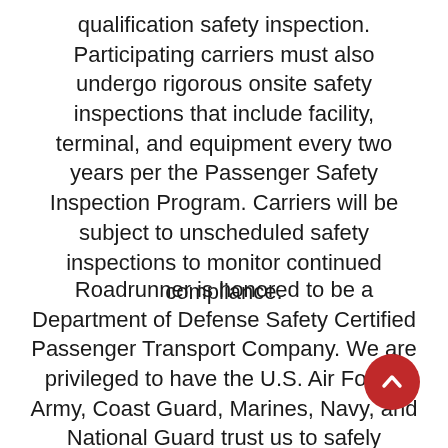qualification safety inspection. Participating carriers must also undergo rigorous onsite safety inspections that include facility, terminal, and equipment every two years per the Passenger Safety Inspection Program. Carriers will be subject to unscheduled safety inspections to monitor continued compliance.
Roadrunner is honored to be a Department of Defense Safety Certified Passenger Transport Company. We are privileged to have the U.S. Air Force, Army, Coast Guard, Marines, Navy, and National Guard trust us to safely transport America's courageous military personnel. In fact, to assure the safety of ALL passengers, we quality check all of our coaches before, during, and after